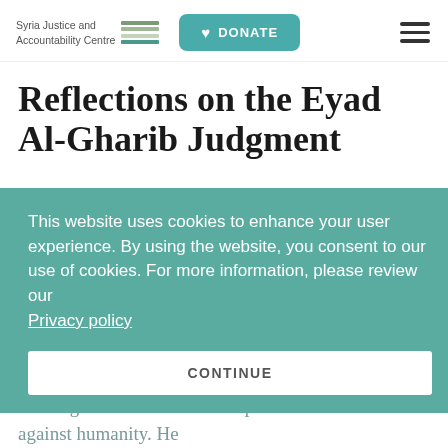Syria Justice and Accountability Centre | DONATE
Reflections on the Eyad Al-Gharib Judgment
This website uses cookies to enhance your user experience. By using the website, you consent to our use of cookies. For more information, please review our Privacy policy
CONTINUE
On February 24, 2021, the Higher Regional Court in Koblenz found Eyad Al-Gharib guilty of aiding and abetting torture and forced imprisonment as crimes against humanity. He